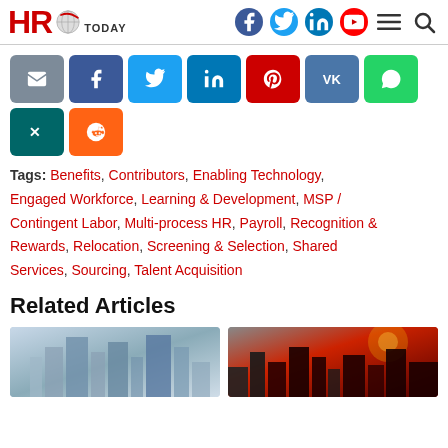HRO TODAY — site header with logo and social icons
[Figure (other): Share buttons row: email (gray), Facebook (blue), Twitter (light blue), LinkedIn (teal), Pinterest (red), VK (indigo), WhatsApp (green), XING (dark teal), Reddit (orange)]
Tags: Benefits, Contributors, Enabling Technology, Engaged Workforce, Learning & Development, MSP / Contingent Labor, Multi-process HR, Payroll, Recognition & Rewards, Relocation, Screening & Selection, Shared Services, Sourcing, Talent Acquisition
Related Articles
[Figure (photo): Two article thumbnail images side by side: left is a grayscale building/architecture photo; right is a reddish cityscape/sunset photo]